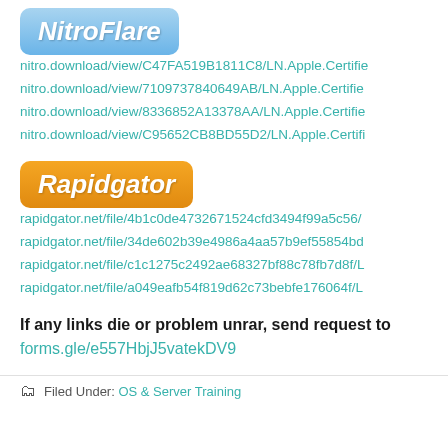[Figure (logo): NitroFlare logo — light blue rounded rectangle with white bold italic text 'NitroFlare']
nitro.download/view/C47FA519B1811C8/LN.Apple.Certifie
nitro.download/view/71097378406​49AB/LN.Apple.Certifie
nitro.download/view/8336852A13378AA/LN.Apple.Certifie
nitro.download/view/C95652CB8BD55D2/LN.Apple.Certifi
[Figure (logo): Rapidgator logo — orange rounded rectangle with white bold italic text 'Rapidgator']
rapidgator.net/file/4b1c0de4732671524cfd3494f99a5c56/
rapidgator.net/file/34de602b39e4986a4aa57b9ef55854bd
rapidgator.net/file/c1c1275c2492ae68327bf88c78fb7d8f/L
rapidgator.net/file/a049eafb54f819d62c73bebfe176064f/L
If any links die or problem unrar, send request to forms.gle/e557HbjJ5vatekDV9
Filed Under: OS & Server Training